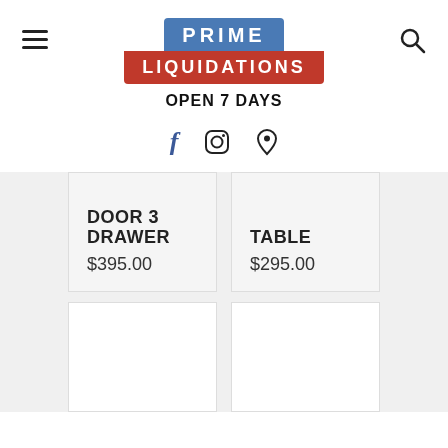PRIME LIQUIDATIONS OPEN 7 DAYS
Social icons: Facebook, Instagram, Location
DOOR 3 DRAWER
$395.00
TABLE
$295.00